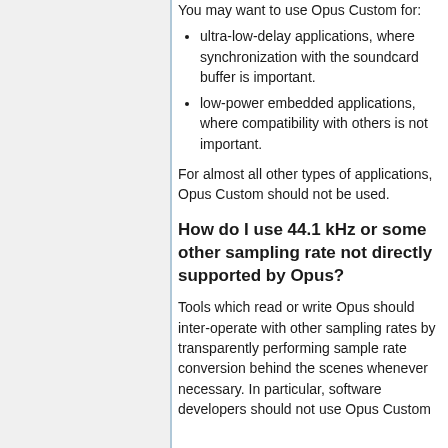You may want to use Opus Custom for:
ultra-low-delay applications, where synchronization with the soundcard buffer is important.
low-power embedded applications, where compatibility with others is not important.
For almost all other types of applications, Opus Custom should not be used.
How do I use 44.1 kHz or some other sampling rate not directly supported by Opus?
Tools which read or write Opus should inter-operate with other sampling rates by transparently performing sample rate conversion behind the scenes whenever necessary. In particular, software developers should not use Opus Custom